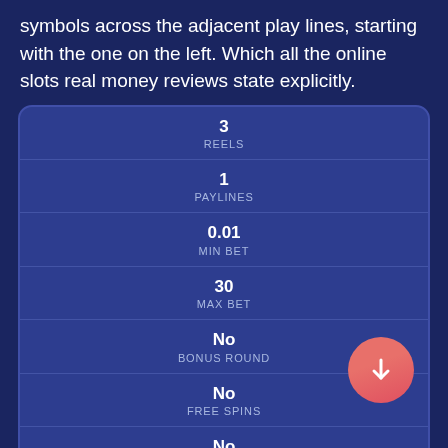symbols across the adjacent play lines, starting with the one on the left. Which all the online slots real money reviews state explicitly.
| Value | Label |
| --- | --- |
| 3 | REELS |
| 1 | PAYLINES |
| 0.01 | MIN BET |
| 30 | MAX BET |
| No | BONUS ROUND |
| No | FREE SPINS |
| No | GAMBLE FEATURE |